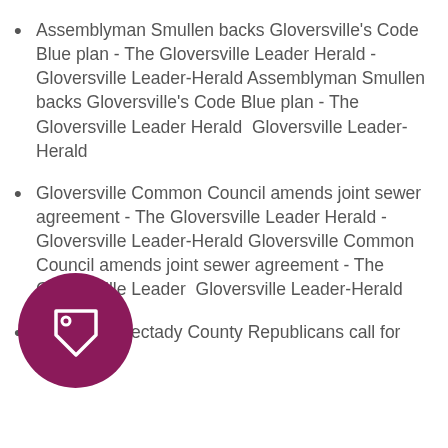Assemblyman Smullen backs Gloversville's Code Blue plan - The Gloversville Leader Herald - Gloversville Leader-Herald Assemblyman Smullen backs Gloversville's Code Blue plan - The Gloversville Leader Herald  Gloversville Leader-Herald
Gloversville Common Council amends joint sewer agreement - The Gloversville Leader Herald - Gloversville Leader-Herald Gloversville Common Council amends joint sewer agreement - The Gloversville Leader  Gloversville Leader-Herald
ectady County Republicans call for